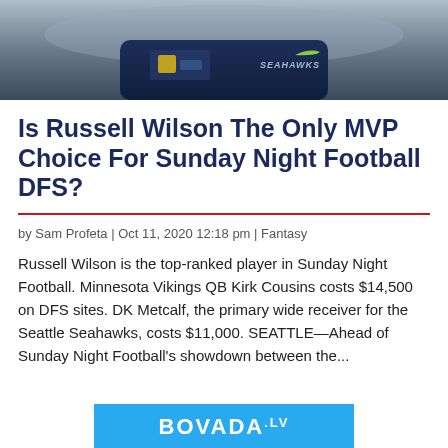[Figure (photo): Cropped photo of a Seattle Seahawks player wearing a dark navy jersey with a Nike logo and 'Seahawks' text visible]
Is Russell Wilson The Only MVP Choice For Sunday Night Football DFS?
by Sam Profeta | Oct 11, 2020 12:18 pm | Fantasy
Russell Wilson is the top-ranked player in Sunday Night Football. Minnesota Vikings QB Kirk Cousins costs $14,500 on DFS sites. DK Metcalf, the primary wide receiver for the Seattle Seahawks, costs $11,000. SEATTLE—Ahead of Sunday Night Football's showdown between the...
[Figure (logo): Bovada.lv advertisement banner in blue with white text]